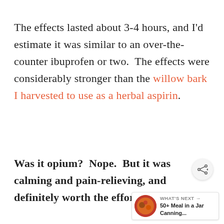The effects lasted about 3-4 hours, and I'd estimate it was similar to an over-the-counter ibuprofen or two.  The effects were considerably stronger than the willow bark I harvested to use as a herbal aspirin.
Was it opium?  Nope.  But it was calming and pain-relieving, and definitely worth the effort.